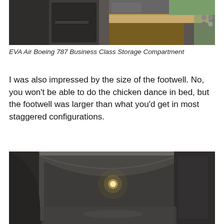[Figure (photo): EVA Air Boeing 787 Business Class storage compartment interior showing dark grey panels, a wooden shelf/tray, green fabric, and control buttons]
EVA Air Boeing 787 Business Class Storage Compartment
I was also impressed by the size of the footwell. No, you won’t be able to do the chicken dance in bed, but the footwell was larger than what you’d get in most staggered configurations.
[Figure (photo): EVA Air Boeing 787 Business Class footwell area showing dark grey curved panels with a small light illuminating the enclosed space]